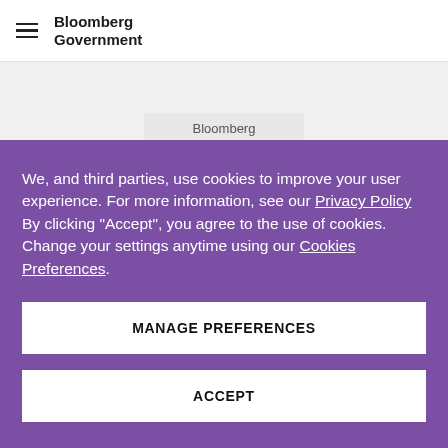Bloomberg Government
[Figure (logo): Bloomberg logo image placeholder]
We, and third parties, use cookies to improve your user experience. For more information, see our Privacy Policy By clicking "Accept", you agree to the use of cookies. Change your settings anytime using our Cookies Preferences.
MANAGE PREFERENCES
ACCEPT